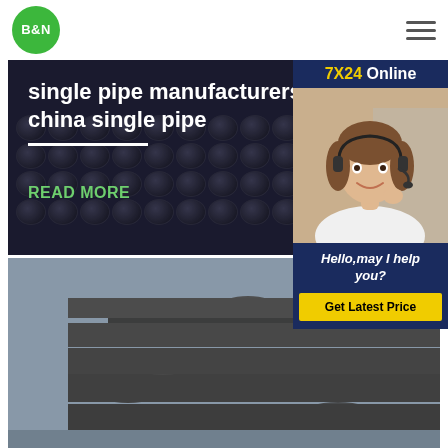[Figure (logo): B&N logo: green circle with white bold text B&N]
[Figure (photo): Hero banner with steel pipes in background, white text overlay reading 'single pipe manufacturers su... china single pipe' with READ MORE link in green]
[Figure (infographic): Chat widget popup showing '7X24 Online' header in yellow/white on dark blue, customer service woman with headset photo, 'Hello, may I help you?' italic text, and yellow 'Get Latest Price' button]
[Figure (photo): Stack of dark steel/iron spiral welded pipes on grey background]